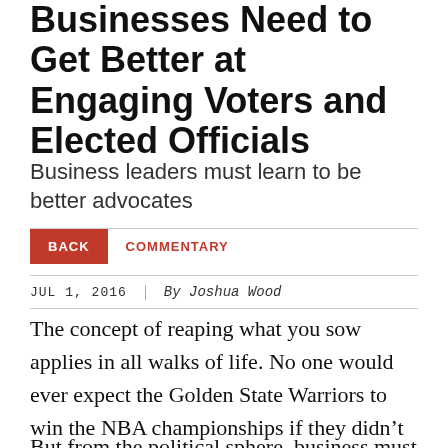Businesses Need to Get Better at Engaging Voters and Elected Officials
Business leaders must learn to be better advocates
BACK   COMMENTARY
JUL 1, 2016   By Joshua Wood
The concept of reaping what you sow applies in all walks of life. No one would ever expect the Golden State Warriors to win the NBA championships if they didn't practice in the off-season.
But from the political sphere, business must...